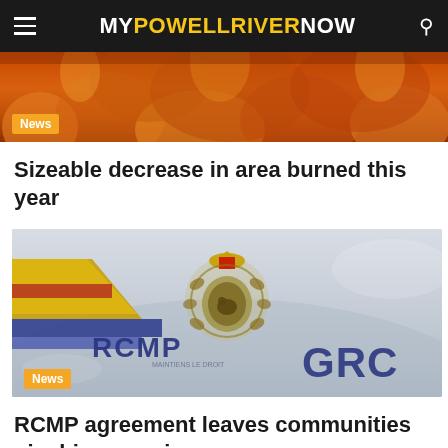MYPOWELLRIVERNOW
[Figure (photo): Wildfire/fire scene photo used as article thumbnail, showing orange flames and burned area]
News
Sizeable decrease in area burned this year
[Figure (photo): Close-up photo of an RCMP police vehicle door showing the RCMP badge/crest, with 'RCMP' and 'GRC' lettering visible on the car door]
News
RCMP agreement leaves communities pinching pennies